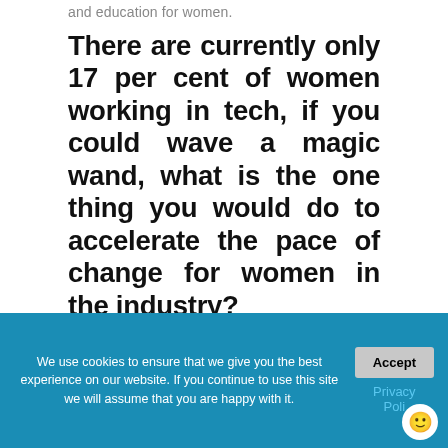and education for women.
There are currently only 17 per cent of women working in tech, if you could wave a magic wand, what is the one thing you would do to accelerate the pace of change for women in the industry?
I think that change for women in tech starts with education.
We use cookies to ensure that we give you the best experience on our website. If you continue to use this site we will assume that you are happy with it. Accept Privacy Poli